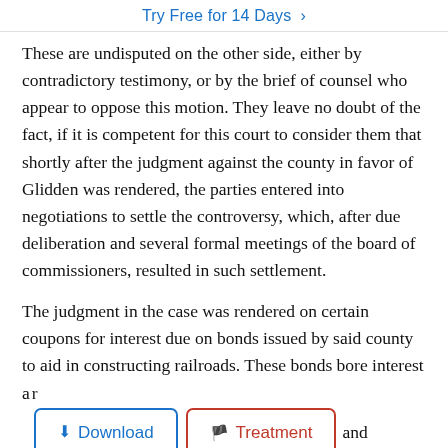Try Free for 14 Days >
These are undisputed on the other side, either by contradictory testimony, or by the brief of counsel who appear to oppose this motion. They leave no doubt of the fact, if it is competent for this court to consider them that shortly after the judgment against the county in favor of Glidden was rendered, the parties entered into negotiations to settle the controversy, which, after due deliberation and several formal meetings of the board of commissioners, resulted in such settlement.
The judgment in the case was rendered on certain coupons for interest due on bonds issued by said county to aid in constructing railroads. These bonds bore interest a [Download] [Treatment] and became d 6. ment the county took up the bonds and the coupons on which